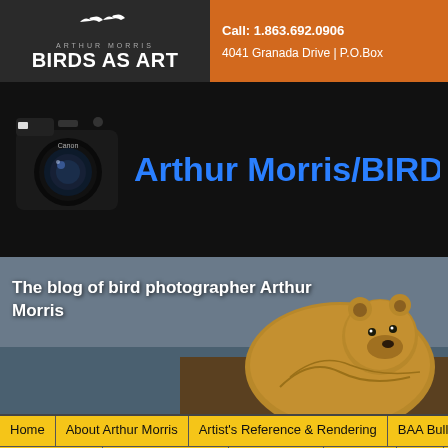Call: 1.863.692.0906 | 4041 Granada Drive | P.O.Box
[Figure (logo): Arthur Morris Birds As Art logo with bird silhouettes]
[Figure (photo): Arthur Morris/BIRDS AS ART banner with Canon camera image]
[Figure (photo): Brown bear photograph with text overlay: The blog of bird photographer Arthur Morris]
The blog of bird photographer Arthur Morris
Home | About Arthur Morris | Artist's Reference & Rendering | BAA Bulle...
Fine Art Prints | Items for Sale Info | Lens Chart | Postlist | Stuff | Sub...
« Prepared Correctly By Luck: The Expected and the Unexpected. Why Low? More on Loving the Sony Alpha 1. And Beyond-the-Beyond Flight Bird-Eye/Face Detection AF